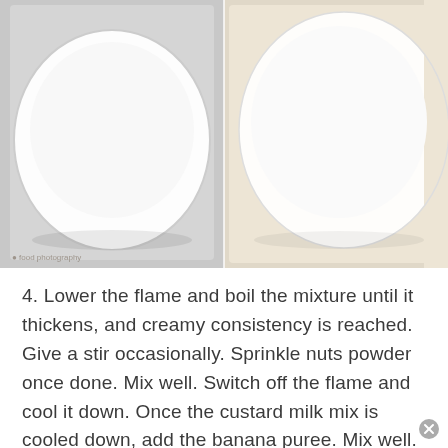[Figure (photo): Two side-by-side photos of white bowls. Left bowl on gray background, right bowl on warm beige/cream background. Both bowls appear to contain a light-colored mixture.]
4. Lower the flame and boil the mixture until it thickens, and creamy consistency is reached. Give a stir occasionally. Sprinkle nuts powder once done. Mix well. Switch off the flame and cool it down. Once the custard milk mix is cooled down, add the banana puree. Mix well.